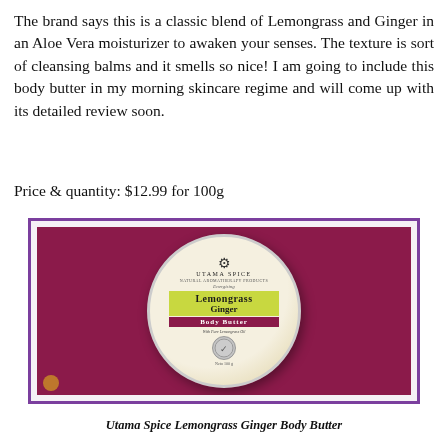The brand says this is a classic blend of Lemongrass and Ginger in an Aloe Vera moisturizer to awaken your senses. The texture is sort of cleansing balms and it smells so nice! I am going to include this body butter in my morning skincare regime and will come up with its detailed review soon.
Price & quantity: $12.99 for 100g
[Figure (photo): A round tin of Utama Spice Energizing Lemongrass Ginger Body Butter with Pure Lemongrass Oil, shown on a dark red/maroon fabric background. The tin has a decorative label with the product name in green and dark text.]
Utama Spice Lemongrass Ginger Body Butter